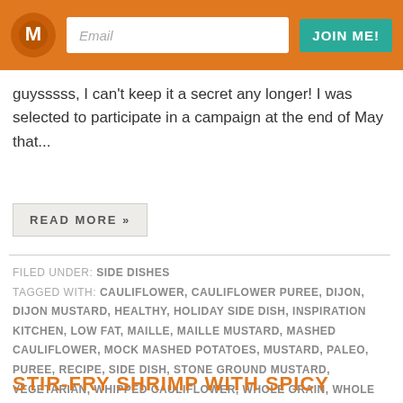Email | JOIN ME!
guysssss, I can't keep it a secret any longer! I was selected to participate in a campaign at the end of May that...
READ MORE »
FILED UNDER: SIDE DISHES
TAGGED WITH: CAULIFLOWER, CAULIFLOWER PUREE, DIJON, DIJON MUSTARD, HEALTHY, HOLIDAY SIDE DISH, INSPIRATION KITCHEN, LOW FAT, MAILLE, MAILLE MUSTARD, MASHED CAULIFLOWER, MOCK MASHED POTATOES, MUSTARD, PALEO, PUREE, RECIPE, SIDE DISH, STONE GROUND MUSTARD, VEGETARIAN, WHIPPED CAULIFLOWER, WHOLE GRAIN, WHOLE GRAIN DIJON MUSTARD
STIR-FRY SHRIMP WITH SPICY